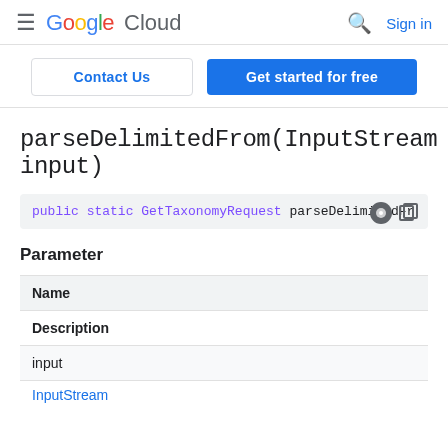Google Cloud  Sign in
Contact Us  |  Get started for free
parseDelimitedFrom(InputStream input)
public static GetTaxonomyRequest parseDelimitedFr
Parameter
| Name |
| --- |
| Description |
| input |
| InputStream |